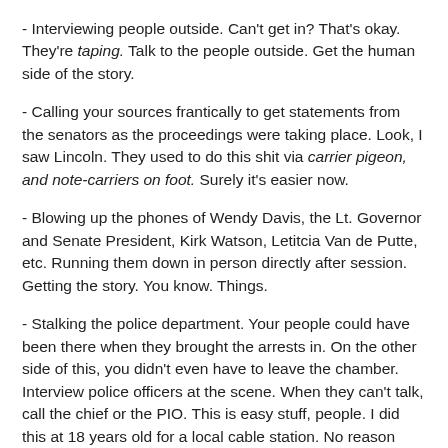- Interviewing people outside. Can't get in? That's okay. They're taping. Talk to the people outside. Get the human side of the story.
- Calling your sources frantically to get statements from the senators as the proceedings were taking place. Look, I saw Lincoln. They used to do this shit via carrier pigeon, and note-carriers on foot. Surely it's easier now.
- Blowing up the phones of Wendy Davis, the Lt. Governor and Senate President, Kirk Watson, Letitcia Van de Putte, etc. Running them down in person directly after session. Getting the story. You know. Things.
- Stalking the police department. Your people could have been there when they brought the arrests in. On the other side of this, you didn't even have to leave the chamber. Interview police officers at the scene. When they can't talk, call the chief or the PIO. This is easy stuff, people. I did this at 18 years old for a local cable station. No reason why you can't.